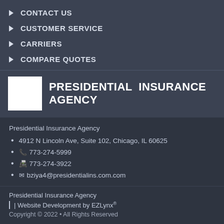CONTACT US
CUSTOMER SERVICE
CARRIERS
COMPARE QUOTES
[Figure (logo): Presidential Insurance Agency logo with white square and bold text]
Presidential Insurance Agency
4912 N Lincoln Ave, Suite 102, Chicago, IL 60625
773-274-5999
773-274-3922
bziya4@presidentialins.com.com
Presidential Insurance Agency
| Website Development by EZLynx®
Copyright © 2022 • All Rights Reserved